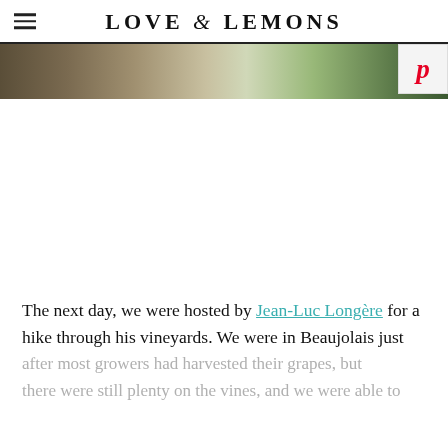LOVE & LEMONS
[Figure (photo): Partial image strip showing outdoor vineyard or garden scene in muted greens and browns, with a Pinterest button overlay in the top right corner]
The next day, we were hosted by Jean-Luc Longère for a hike through his vineyards. We were in Beaujolais just after most growers had harvested their grapes, but there were still plenty on the vines, and we were able to